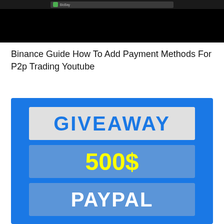[Figure (screenshot): Screenshot of a browser or app interface with dark top bar and green icon, showing 'BicBay' text]
Binance Guide How To Add Payment Methods For P2p Trading Youtube
[Figure (infographic): Blue promotional giveaway card with three boxes: GIVEAWAY in blue text on light grey background, 500$ in yellow text on medium blue background, PAYPAL in white text on medium blue background]